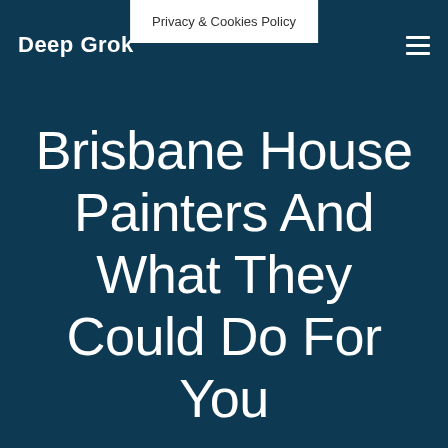Deep Grok
Privacy & Cookies Policy
Brisbane House Painters And What They Could Do For You